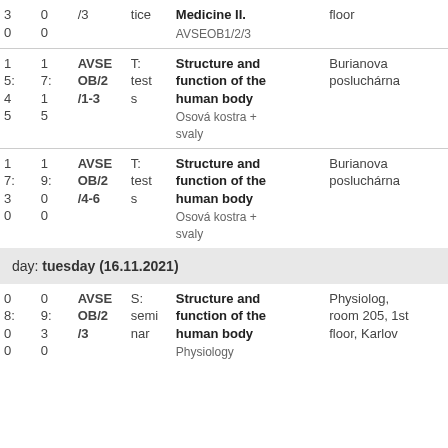| From | To | Code | Type | Subject | Room |
| --- | --- | --- | --- | --- | --- |
| 3
0 | 0
0 | /3 | tice | Medicine II.
AVSEOB1/2/3 | floor |
| 1
5:
4
5 | 1
7:
1
5 | AVSE
OB/2
/1-3 | T:
test
s | Structure and function of the human body
Osová kostra + svaly | Burianova
posluchárna |
| 1
7:
3
0 | 1
9:
0
0 | AVSE
OB/2
/4-6 | T:
test
s | Structure and function of the human body
Osová kostra + svaly | Burianova
posluchárna |
day: tuesday (16.11.2021)
| From | To | Code | Type | Subject | Room |
| --- | --- | --- | --- | --- | --- |
| 0
8:
0
0 | 0
9:
3
0 | AVSE
OB/2
/3 | S:
semi
nar | Structure and function of the human body
Physiology | Physiolog,
room 205, 1st
floor, Karlov |